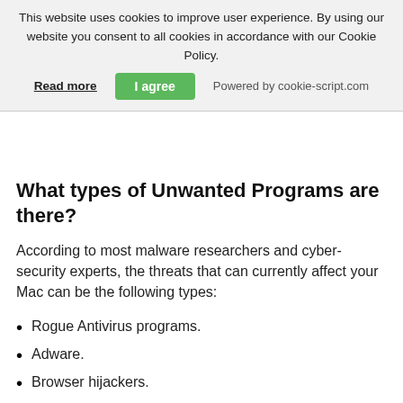This website uses cookies to improve user experience. By using our website you consent to all cookies in accordance with our Cookie Policy. Read more | I agree | Powered by cookie-script.com
What types of Unwanted Programs are there?
According to most malware researchers and cyber-security experts, the threats that can currently affect your Mac can be the following types:
Rogue Antivirus programs.
Adware.
Browser hijackers.
Clickers.
Fake optimizers.
What to do if I have a "virus" like Package Tracking Tab?